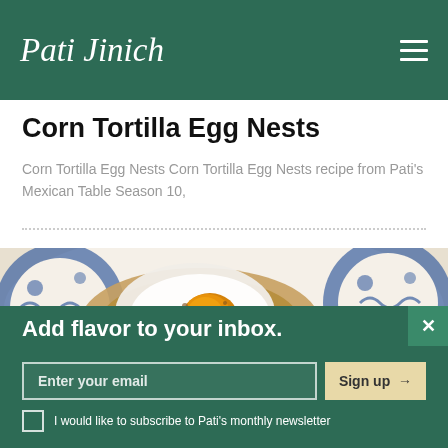Pati Jinich
Corn Tortilla Egg Nests
Corn Tortilla Egg Nests Corn Tortilla Egg Nests recipe from Pati's Mexican Table Season 10,
[Figure (photo): Close-up food photo of a Corn Tortilla Egg Nest dish served on a blue and white decorative plate. A fried egg sits in a crispy tortilla nest with seasoning on top.]
Add flavor to your inbox.
Enter your email
Sign up →
I would like to subscribe to Pati's monthly newsletter